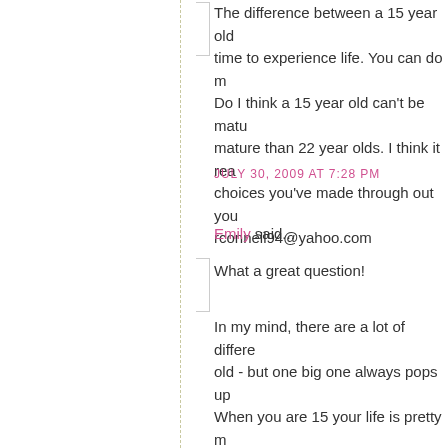The difference between a 15 year old - but one big one always pops up - time to experience life. You can do m- Do I think a 15 year old can't be matu- mature than 22 year olds. I think it rea- choices you've made through out you- rconnell94@yahoo.com
JULY 30, 2009 AT 7:28 PM
Emily said...
What a great question!
In my mind, there are a lot of differen- old - but one big one always pops up - When you are 15 your life is pretty m- by society. Even if your parents aren't- follow in order to live in today's world- have to go to school but you probably- you would like to do, but you can't. As- adult and everything you parents and- until you were 'grown up' or an 'adult'